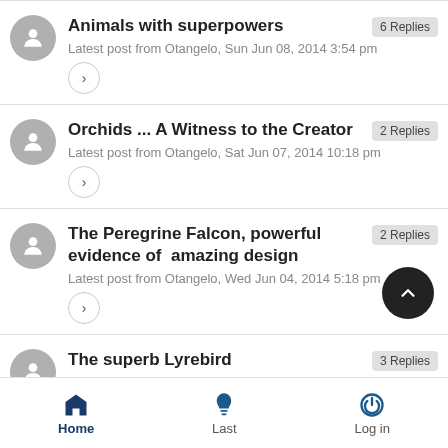Animals with superpowers — 6 Replies
Latest post from Otangelo, Sun Jun 08, 2014 3:54 pm
Orchids ... A Witness to the Creator — 2 Replies
Latest post from Otangelo, Sat Jun 07, 2014 10:18 pm
The Peregrine Falcon, powerful evidence of amazing design — 2 Replies
Latest post from Otangelo, Wed Jun 04, 2014 5:18 pm
The superb Lyrebird — 3 Replies
Latest post from Otangelo, Sun May 25, 2014 9:09
Home   Last   Log in